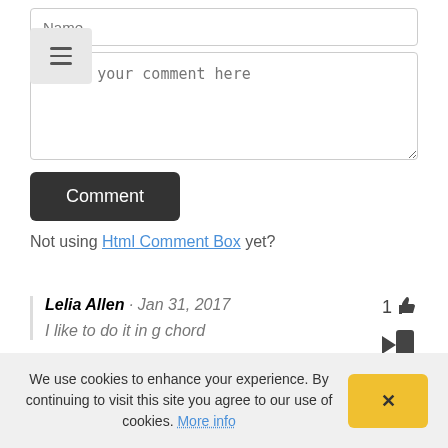Name
Enter your comment here
Comment (button)
Not using Html Comment Box yet?
Lelia Allen · Jan 31, 2017 — 1 like
I like to do it in g chord
Like · Reply · Flag
We use cookies to enhance your experience. By continuing to visit this site you agree to our use of cookies. More info